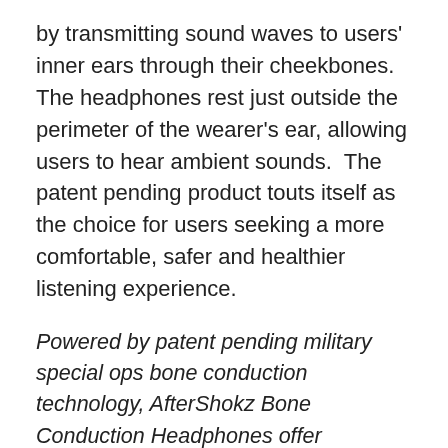by transmitting sound waves to users' inner ears through their cheekbones.  The headphones rest just outside the perimeter of the wearer's ear, allowing users to hear ambient sounds.  The patent pending product touts itself as the choice for users seeking a more comfortable, safer and healthier listening experience.
Powered by patent pending military special ops bone conduction technology, AfterShokz Bone Conduction Headphones offer consumers a more comfortable, healthier, and safer listening experience. Unlike conventiones headphones and earbuds that use the eardrums to transmit sound, Aftershokz headphones sit comfortably in front of the ear and utilize bone conduction technology to deliver stereophonic sound through the listener's cheekbones to the inner ear. This enables